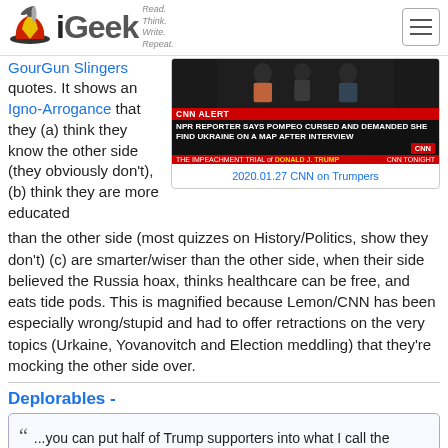iGeek — Read. Think. Write. Repeat.
GourGun Clingers quotes. It shows an Igno-Arrogance that they (a) think they know the other side (they obviously don't), (b) think they are more educated
[Figure (screenshot): CNN Alert screenshot: NPR Reporter says Pompeo cursed and demanded she find Ukraine on a map after interview. The Impeachment Trial of Donald J. Trump. CNN Tonight.]
2020.01.27 CNN on Trumpers
than the other side (most quizzes on History/Politics, show they don't) (c) are smarter/wiser than the other side, when their side believed the Russia hoax, thinks healthcare can be free, and eats tide pods. This is magnified because Lemon/CNN has been especially wrong/stupid and had to offer retractions on the very topics (Urkaine, Yovanovitch and Election meddling) that they're mocking the other side over.
Deplorables -
“ ...you can put half of Trump supporters into what I call the basket of deplorables. Right? Racist, sexist, homophobic,